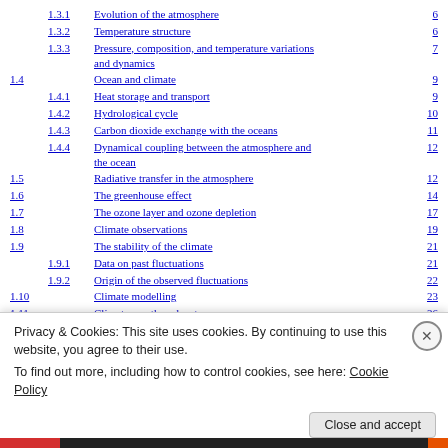1.3.1    Evolution of the atmosphere    6
1.3.2    Temperature structure    6
1.3.3    Pressure, composition, and temperature variations and dynamics    7
1.4    Ocean and climate    9
1.4.1    Heat storage and transport    9
1.4.2    Hydrological cycle    10
1.4.3    Carbon dioxide exchange with the oceans    11
1.4.4    Dynamical coupling between the atmosphere and the ocean    12
1.5    Radiative transfer in the atmosphere    12
1.6    The greenhouse effect    14
1.7    The ozone layer and ozone depletion    17
1.8    Climate observations    19
1.9    The stability of the climate    21
1.9.1    Data on past fluctuations    21
1.9.2    Origin of the observed fluctuations    22
1.10    Climate modelling    23
1.11    Climate on other planets    26
Further reading    28
Privacy & Cookies: This site uses cookies. By continuing to use this website, you agree to their use. To find out more, including how to control cookies, see here: Cookie Policy